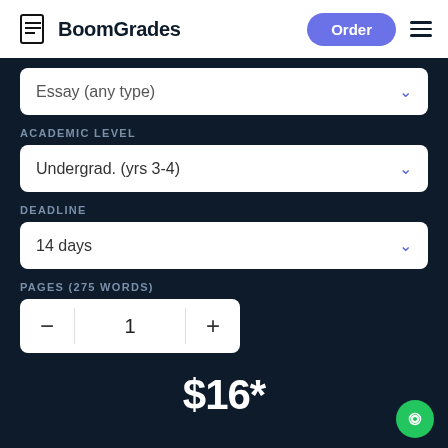[Figure (logo): BoomGrades logo with document icon and bold text]
Essay (any type)
ACADEMIC LEVEL
Undergrad. (yrs 3-4)
DEADLINE
14 days
PAGES (275 WORDS)
1
$16*